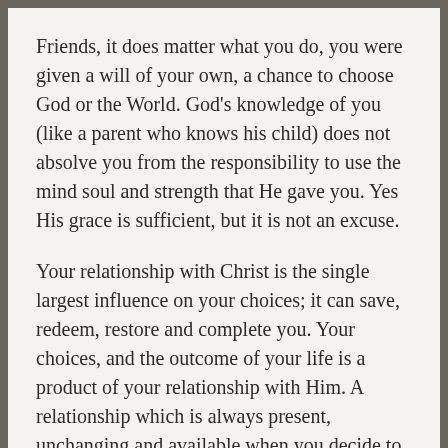Friends, it does matter what you do, you were given a will of your own, a chance to choose God or the World. God's knowledge of you (like a parent who knows his child) does not absolve you from the responsibility to use the mind soul and strength that He gave you. Yes His grace is sufficient, but it is not an excuse.
Your relationship with Christ is the single largest influence on your choices; it can save, redeem, restore and complete you. Your choices, and the outcome of your life is a product of your relationship with Him. A relationship which is always present, unchanging and available when you decide to turn to Him.
Please help me share the good news of Jesus